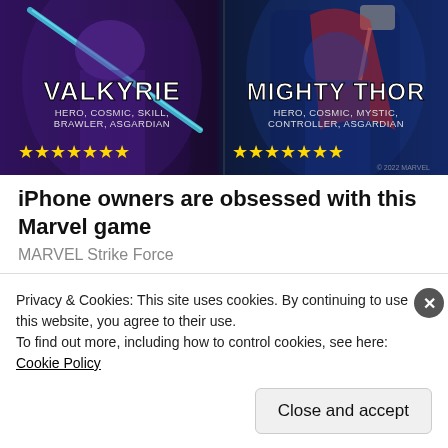[Figure (screenshot): Marvel Strike Force game promotional image showing Valkyrie (HERO, COSMIC, SKILL, BRAWLER, ASGARDIAN) with 7 yellow stars and Mighty Thor (HERO, COSMIC, MYSTIC, CONTROLLER, ASGARDIAN) with 7 yellow stars on a dark stylized background.]
iPhone owners are obsessed with this Marvel game
MARVEL Strike Force
Share this:
Privacy & Cookies: This site uses cookies. By continuing to use this website, you agree to their use.
To find out more, including how to control cookies, see here: Cookie Policy
Close and accept